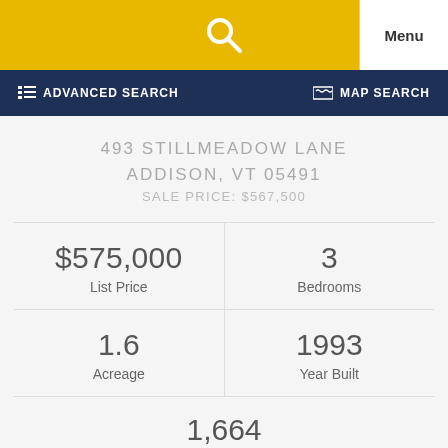Menu
ADVANCED SEARCH   MAP SEARCH
493 STILLMEADOW LANE
ADDISON, VT 05491
SALE PRICE: $567,500
|  |  |
| --- | --- |
| $575,000 List Price | 3 Bedrooms |
| 1.6 Acreage | 1993 Year Built |
| 1,664 |  |